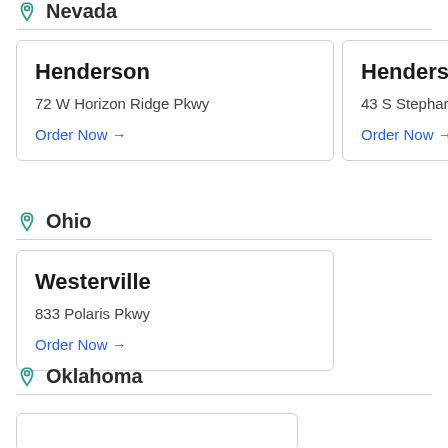Nevada
Henderson
72 W Horizon Ridge Pkwy
Order Now →
Henderson
43 S Stephanie St
Order Now →
Ohio
Westerville
833 Polaris Pkwy
Order Now →
Oklahoma